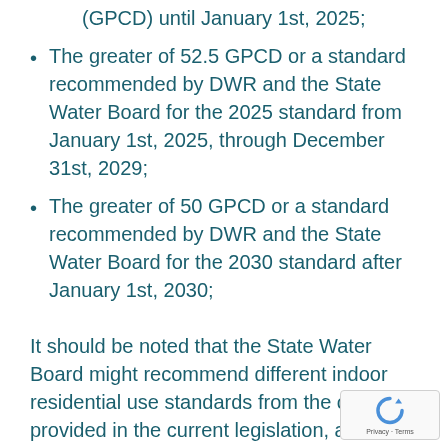(GPCD) until January 1st, 2025;
The greater of 52.5 GPCD or a standard recommended by DWR and the State Water Board for the 2025 standard from January 1st, 2025, through December 31st, 2029;
The greater of 50 GPCD or a standard recommended by DWR and the State Water Board for the 2030 standard after January 1st, 2030;
It should be noted that the State Water Board might recommend different indoor residential use standards from the ones provided in the current legislation, and such recommendations